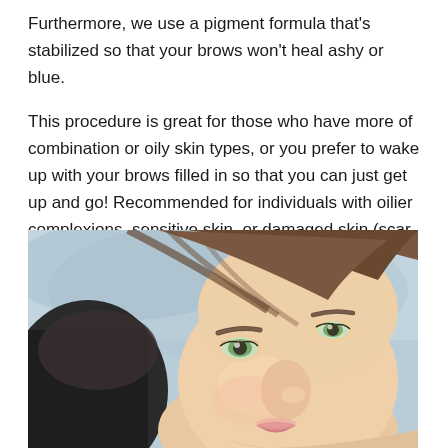Furthermore, we use a pigment formula that's stabilized so that your brows won't heal ashy or blue.
This procedure is great for those who have more of combination or oily skin types, or you prefer to wake up with your brows filled in so that you can just get up and go! Recommended for individuals with oilier complexions, sensitive skin, or damaged skin (scar tissue) who still want a fuller brow effect.
[Figure (photo): Close-up photo of a young woman with brown hair, green eyes, and natural-looking eyebrows, lying down and smiling slightly at the camera. The background appears to be a light blue surface.]